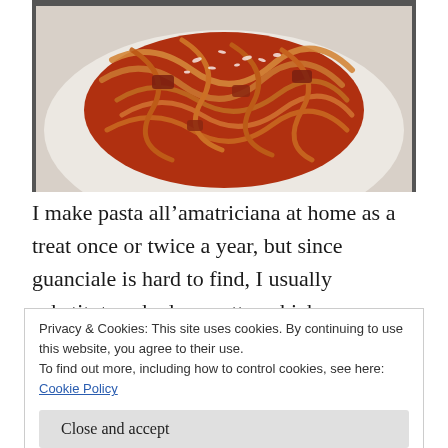[Figure (photo): A plate of pasta all'amatriciana with thick noodles, tomato sauce with meat, and grated cheese on top, served on a white plate.]
I make pasta all’amatriciana at home as a treat once or twice a year, but since guanciale is hard to find, I usually substitute cubed pancetta, which you can find at Trader Joe’s, Publix, and
Privacy & Cookies: This site uses cookies. By continuing to use this website, you agree to their use.
To find out more, including how to control cookies, see here:
Cookie Policy
anyway.